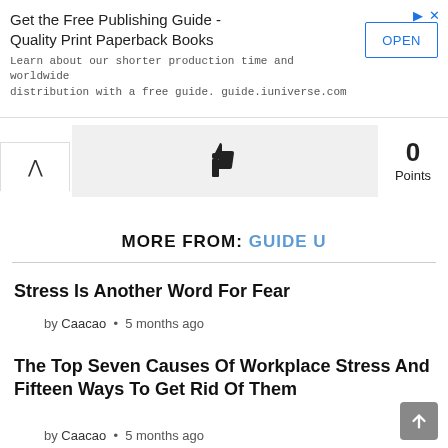[Figure (screenshot): Advertisement banner for iUniverse publishing guide with title 'Get the Free Publishing Guide - Quality Print Paperback Books', subtitle text, and an OPEN button]
[Figure (infographic): Like/upvote UI element with thumbs up icon and 0 Points score]
MORE FROM: GUIDE U
Stress Is Another Word For Fear
by Caacao • 5 months ago
The Top Seven Causes Of Workplace Stress And Fifteen Ways To Get Rid Of Them
by Caacao • 5 months ago